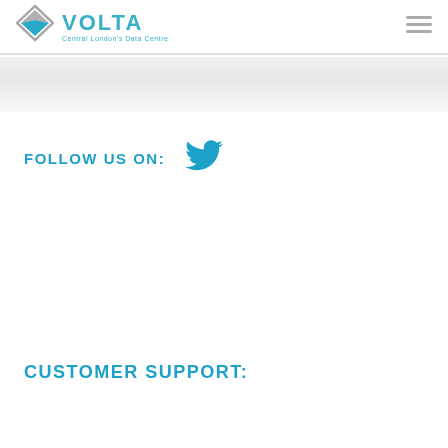[Figure (logo): Volta Data Centre logo with diamond/rhombus shape in grey and teal, with company name VOLTA in teal and tagline Central London's Data Centre]
FOLLOW US ON:
[Figure (illustration): Twitter bird icon in teal/cyan colour]
CUSTOMER SUPPORT: